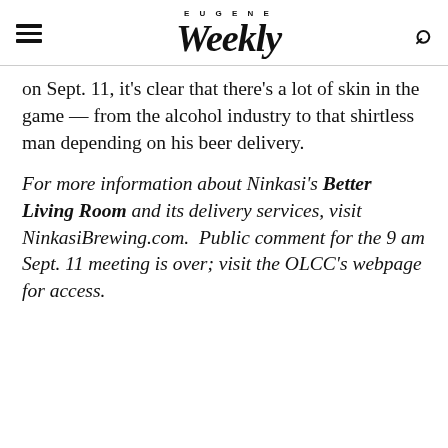Eugene Weekly
on Sept. 11, it's clear that there's a lot of skin in the game — from the alcohol industry to that shirtless man depending on his beer delivery.
For more information about Ninkasi's Better Living Room and its delivery services, visit NinkasiBrewing.com.  Public comment for the 9 am Sept. 11 meeting is over; visit the OLCC's webpage for access.